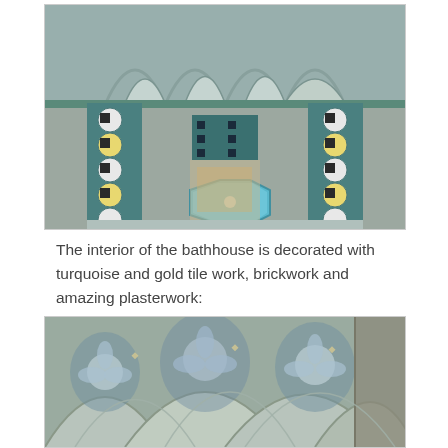[Figure (photo): Interior of a bathhouse with turquoise and gold tilework, ornate arched ceiling with blue and green decorative plasterwork, tiled columns with geometric patterns in teal, yellow and white, and a central octagonal fountain pool with blue water.]
The interior of the bathhouse is decorated with turquoise and gold tile work, brickwork and amazing plasterwork:
[Figure (photo): Close-up of ornate arched ceiling of a bathhouse showing detailed blue and white floral plasterwork and intricate painted decorations on arches and vaults.]